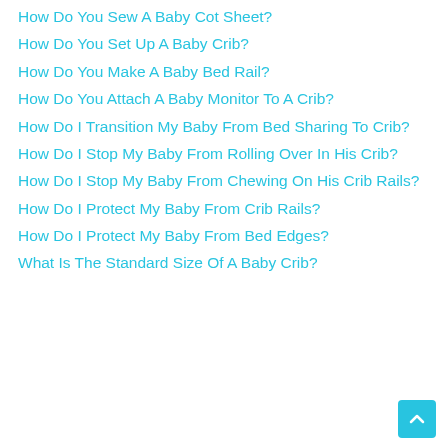How Do You Sew A Baby Cot Sheet?
How Do You Set Up A Baby Crib?
How Do You Make A Baby Bed Rail?
How Do You Attach A Baby Monitor To A Crib?
How Do I Transition My Baby From Bed Sharing To Crib?
How Do I Stop My Baby From Rolling Over In His Crib?
How Do I Stop My Baby From Chewing On His Crib Rails?
How Do I Protect My Baby From Crib Rails?
How Do I Protect My Baby From Bed Edges?
What Is The Standard Size Of A Baby Crib?